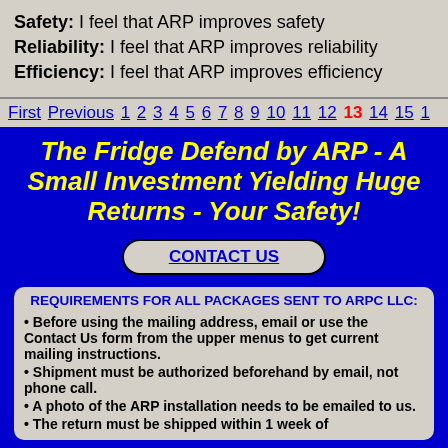Safety: I feel that ARP improves safety
Reliability: I feel that ARP improves reliability
Efficiency: I feel that ARP improves efficiency
First Previous 1 2 3 4 5 6 7 8 9 10 11 12 13 14 15 1
The Fridge Defend by ARP - A Small Investment Yielding Huge Returns - Your Safety!
CONTACT US
REQUIREMENTS FOR ALL PACKAGES SENT TO ARPC LLC:
Before using the mailing address, email or use the Contact Us form from the upper menus to get current mailing instructions.
Shipment must be authorized beforehand by email, not phone call.
A photo of the ARP installation needs to be emailed to us.
The return must be shipped within 1 week of